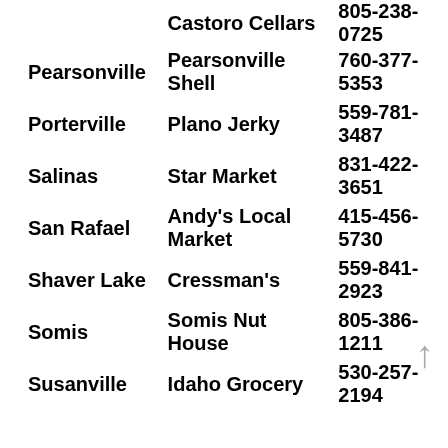| City | Store | Phone |
| --- | --- | --- |
|  | Castoro Cellars | 805-238-0725 |
| Pearsonville | Pearsonville Shell | 760-377-5353 |
| Porterville | Plano Jerky | 559-781-3487 |
| Salinas | Star Market | 831-422-3651 |
| San Rafael | Andy's Local Market | 415-456-5730 |
| Shaver Lake | Cressman's | 559-841-2923 |
| Somis | Somis Nut House | 805-386-1211 |
| Susanville | Idaho Grocery | 530-257-2194 |